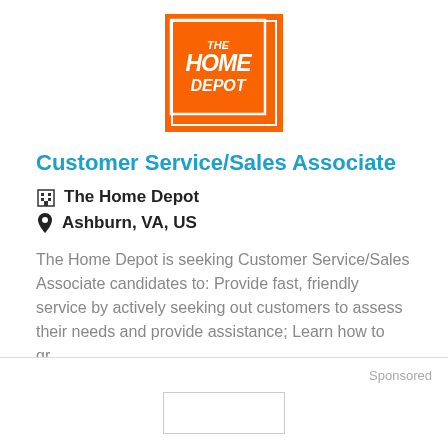[Figure (logo): The Home Depot logo — orange square with white inner border and white italic text reading THE HOME DEPOT]
Customer Service/Sales Associate
🏢  The Home Depot
📍  Ashburn, VA, US
The Home Depot is seeking Customer Service/Sales Associate candidates to: Provide fast, friendly service by actively seeking out customers to assess their needs and provide assistance; Learn how to gr...
More Details
Sponsored